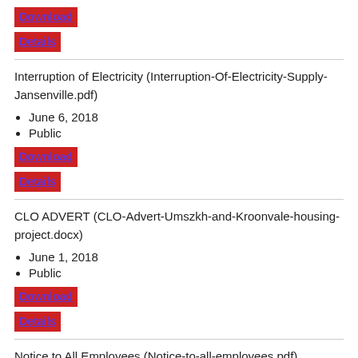Download
Details
Interruption of Electricity (Interruption-Of-Electricity-Supply-Jansenville.pdf)
June 6, 2018
Public
Download
Details
CLO ADVERT (CLO-Advert-Umszkh-and-Kroonvale-housing-project.docx)
June 1, 2018
Public
Download
Details
Notice to All Employees (Notice-to-all-employees.pdf)
May 29, 2018
Public